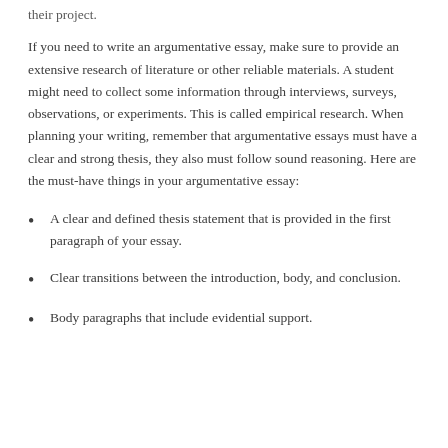their project.
If you need to write an argumentative essay, make sure to provide an extensive research of literature or other reliable materials. A student might need to collect some information through interviews, surveys, observations, or experiments. This is called empirical research. When planning your writing, remember that argumentative essays must have a clear and strong thesis, they also must follow sound reasoning. Here are the must-have things in your argumentative essay:
A clear and defined thesis statement that is provided in the first paragraph of your essay.
Clear transitions between the introduction, body, and conclusion.
Body paragraphs that include evidential support.